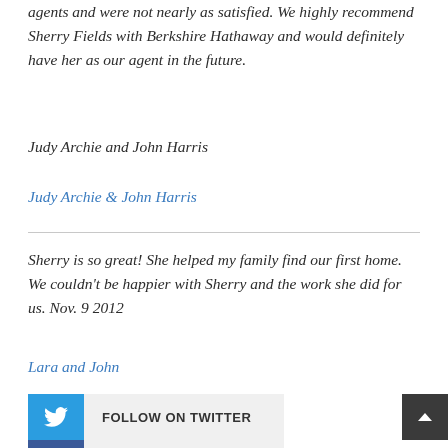agents and were not nearly as satisfied. We highly recommend Sherry Fields with Berkshire Hathaway and would definitely have her as our agent in the future.
Judy Archie and John Harris
Judy Archie & John Harris
Sherry is so great! She helped my family find our first home. We couldn't be happier with Sherry and the work she did for us. Nov. 9 2012
Lara and John
FOLLOW ON TWITTER
FIND US ON FACEBOOK